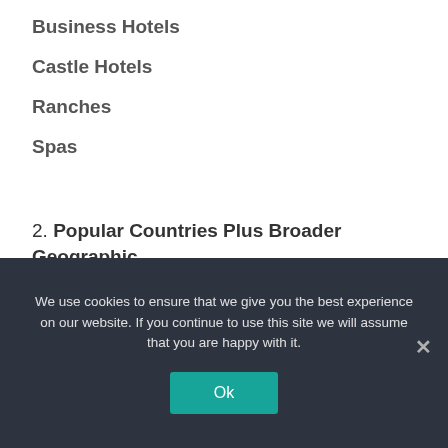Business Hotels
Castle Hotels
Ranches
Spas
2. Popular Countries Plus Broader Geographic Regions:
We use cookies to ensure that we give you the best experience on our website. If you continue to use this site we will assume that you are happy with it.